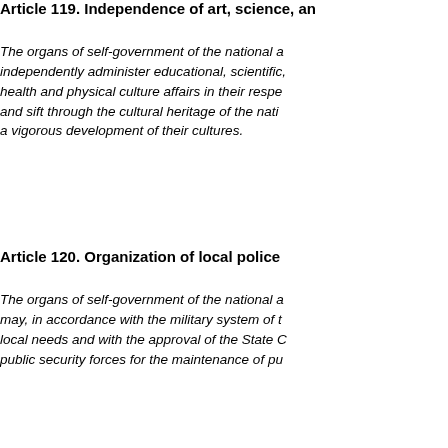Article 119. Independence of art, science, an...
The organs of self-government of the national a... independently administer educational, scientific,... health and physical culture affairs in their respe... and sift through the cultural heritage of the nati... a vigorous development of their cultures.
Article 120. Organization of local police
The organs of self-government of the national a... may, in accordance with the military system of t... local needs and with the approval of the State C... public security forces for the maintenance of pu...
Article 121. Use of local language
deleted
Article 122. Assistance from the state
The state provides financial, material and techn... minority nationalities to accelerate their econom... development.
The state helps the national autonomous areas... of cadres at various levels and specialized pers...